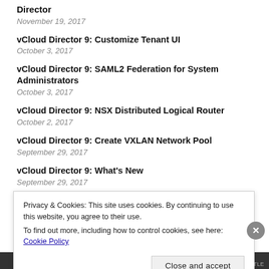Director
November 19, 2017
vCloud Director 9: Customize Tenant UI
October 3, 2017
vCloud Director 9: SAML2 Federation for System Administrators
October 3, 2017
vCloud Director 9: NSX Distributed Logical Router
October 2, 2017
vCloud Director 9: Create VXLAN Network Pool
September 29, 2017
vCloud Director 9: What's New
September 29, 2017
vCloud Architecture Toolkit for Service Provider Update
Privacy & Cookies: This site uses cookies. By continuing to use this website, you agree to their use. To find out more, including how to control cookies, see here: Cookie Policy
Close and accept